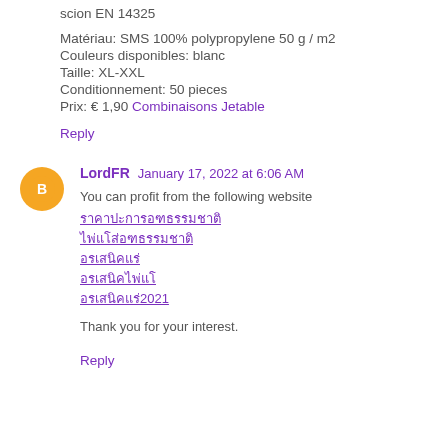scion EN 14325
Matériau: SMS 100% polypropylene 50 g / m2
Couleurs disponibles: blanc
Taille: XL-XXL
Conditionnement: 50 pieces
Prix: € 1,90 Combinaisons Jetable
Reply
LordFR  January 17, 2022 at 6:06 AM
You can profit from the following website
[Thai link 1]
[Thai link 2]
[Thai link 3]
[Thai link 4]
[Thai link 5]

Thank you for your interest.
Reply